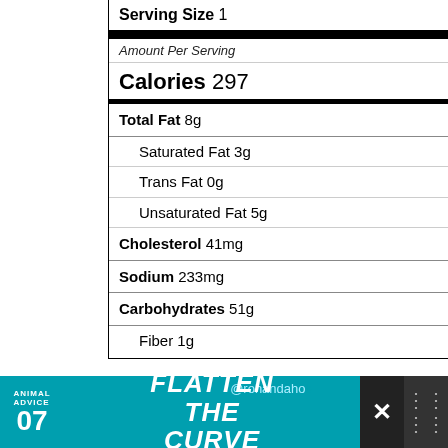Serving Size 1
Amount Per Serving
Calories 297
Total Fat 8g
Saturated Fat 3g
Trans Fat 0g
Unsaturated Fat 5g
Cholesterol 41mg
Sodium 233mg
Carbohydrates 51g
Fiber 1g
[Figure (other): Advertisement banner: Animal Advice 07 / Flatten The Curve @rohandahos]